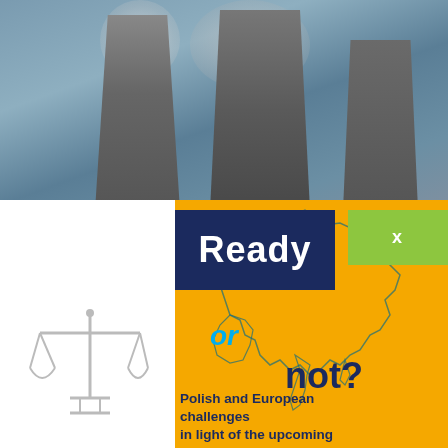[Figure (photo): Industrial cooling towers with steam/smoke against a grey-blue sky]
[Figure (illustration): Decorative outline map of Europe on orange background with scales of justice illustration on white strip]
Ready or not?
Polish and European challenges in light of the upcoming Unified Patent Court